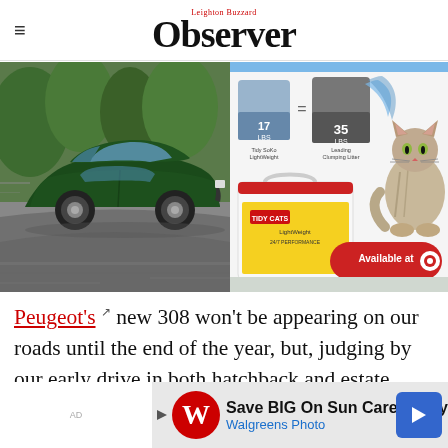Leighton Buzzard Observer
[Figure (photo): Green Peugeot 308 hatchback driving on road (left) and Tidy Cats cat litter advertisement with a cat (right)]
Peugeot's new 308 won't be appearing on our roads until the end of the year, but, judging by our early drive in both hatchback and estate versi
[Figure (advertisement): Walgreens Photo - Save BIG On Sun Care Today advertisement banner]